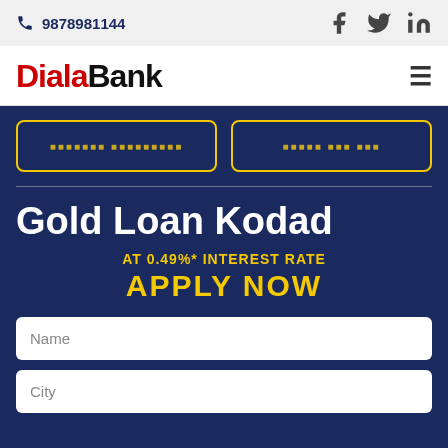📞 9878981144
[Figure (logo): DialaBank logo with social icons (Facebook, Twitter, LinkedIn) and hamburger menu]
Gold Loan Kodad
AT 0.49%* INTEREST RATE
APPLY NOW
Name
City